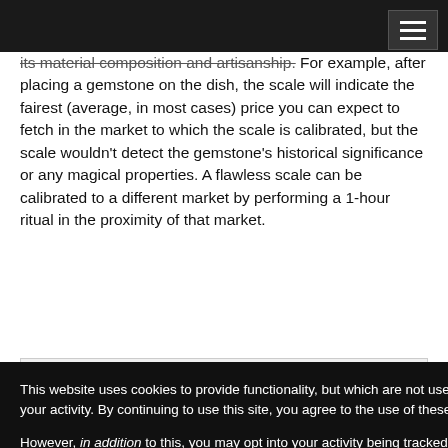its material composition and artisanship. For example, after placing a gemstone on the dish, the scale will indicate the fairest (average, in most cases) price you can expect to fetch in the market to which the scale is calibrated, but the scale wouldn't detect the gemstone's historical significance or any magical properties. A flawless scale can be calibrated to a different market by performing a 1-hour ritual in the proximity of that market.
This website uses cookies to provide functionality, but which are not used to track your activity. By continuing to use this site, you agree to the use of these cookies.

However, in addition to this, you may opt into your activity being tracked in order to help us improve our service.

For more information, please click here
dition) © 2020, Olyaee, Calder , Leo Glass, Joshua Keeley, Jacky leen, Jacob W. helan, Jennifer ck Renie, David N. artz, Shahreena dro, and Diego